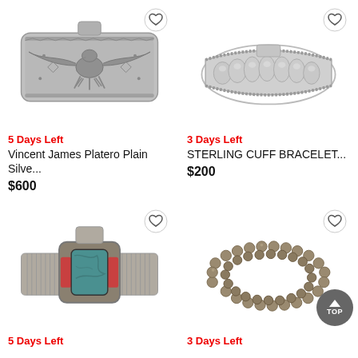[Figure (photo): Silver cuff bracelet with thunderbird/eagle motif engraved on wide sterling silver band]
5 Days Left
Vincent James Platero Plain Silve...
$600
[Figure (photo): Sterling silver cuff bracelet with ribbed dome design and rope-style border]
3 Days Left
STERLING CUFF BRACELET...
$200
[Figure (photo): Silver cuff bracelet with turquoise stone and coral accents on ridged band]
5 Days Left
[Figure (photo): Double-strand silver bead bracelet/necklace made of small round beads]
3 Days Left